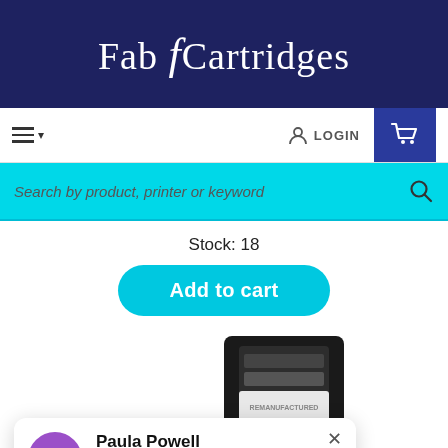[Figure (logo): Fab Cartridges logo on dark navy blue header bar, white serif text]
≡ ▾   LOGIN  🛒
Search by product, printer or keyword
Stock: 18
Add to cart
[Figure (photo): Black ink cartridge product image labeled REMANUFACTURED]
[Figure (screenshot): Review popup: Paula Powell - Just left us a 5 star review, 4 gold stars, 2 months ago, with K avatar in purple]
We're Online! How may I help you today?